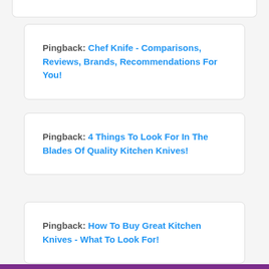Pingback: Chef Knife - Comparisons, Reviews, Brands, Recommendations For You!
Pingback: 4 Things To Look For In The Blades Of Quality Kitchen Knives!
Pingback: How To Buy Great Kitchen Knives - What To Look For!